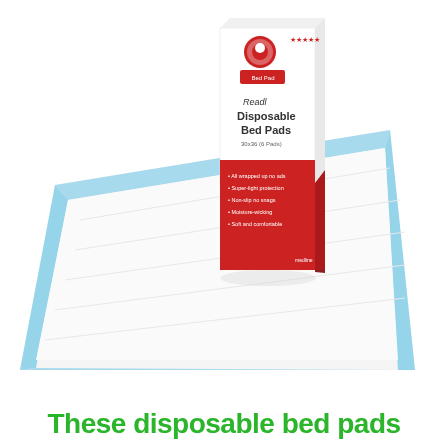[Figure (photo): A product photo showing a white disposable bed pad with light blue border trim laid flat, with a box of Readl Disposable Bed Pads (white and red packaging) standing upright on top of the pad. The box has a red bottom half with bullet points and a white top half with the product name.]
These disposable bed pads